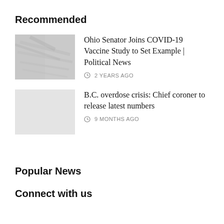Recommended
[Figure (photo): Thumbnail image for Ohio Senator COVID-19 vaccine story, showing a person with flag-like draping in grayscale]
Ohio Senator Joins COVID-19 Vaccine Study to Set Example | Political News
2 YEARS AGO
[Figure (photo): Blank/empty gray thumbnail for B.C. overdose crisis story]
B.C. overdose crisis: Chief coroner to release latest numbers
9 MONTHS AGO
Popular News
Connect with us